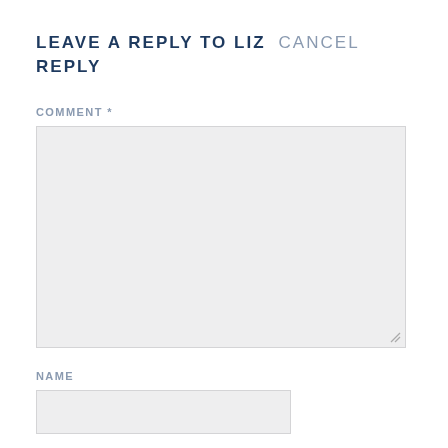LEAVE A REPLY TO LIZ CANCEL REPLY
COMMENT *
[Figure (other): Empty comment textarea form field with light gray background and resize handle]
NAME
[Figure (other): Empty name input form field with light gray background]
EMAIL